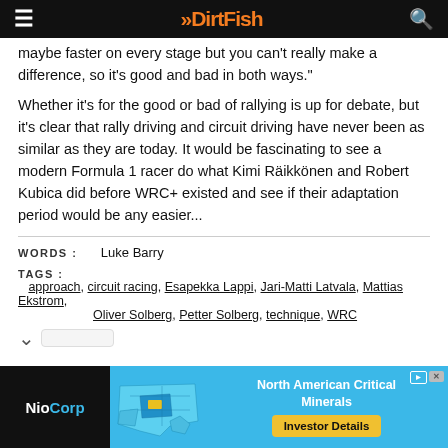DirtFish
maybe faster on every stage but you can't really make a difference, so it's good and bad in both ways."
Whether it's for the good or bad of rallying is up for debate, but it's clear that rally driving and circuit driving have never been as similar as they are today. It would be fascinating to see a modern Formula 1 racer do what Kimi Räikkönen and Robert Kubica did before WRC+ existed and see if their adaptation period would be any easier...
WORDS : Luke Barry
TAGS : approach, circuit racing, Esapekka Lappi, Jari-Matti Latvala, Mattias Ekstrom, Oliver Solberg, Petter Solberg, technique, WRC
[Figure (other): Advertisement banner for NioCorp featuring a map of North America and text 'North American Critical Minerals' with an 'Investor Details' button]